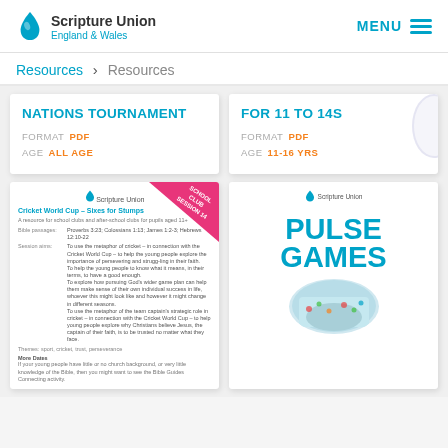Scripture Union England & Wales | MENU
Resources > Resources
NATIONS TOURNAMENT
FORMAT  PDF
AGE  ALL AGE
FOR 11 TO 14S
FORMAT  PDF
AGE  11-16 YRS
[Figure (screenshot): Preview of Scripture Union document: Cricket World Cup - Sixtes for Stamps school club session PDF]
[Figure (screenshot): Preview of Scripture Union Pulse Games resource with large teal title text and circular photo]